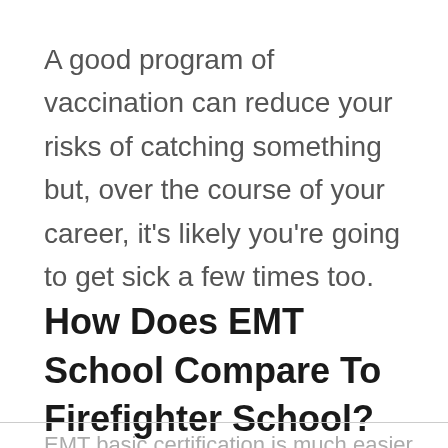A good program of vaccination can reduce your risks of catching something but, over the course of your career, it’s likely you’re going to get sick a few times too.
How Does EMT School Compare To Firefighter School?
EMT basic certification is much easier than